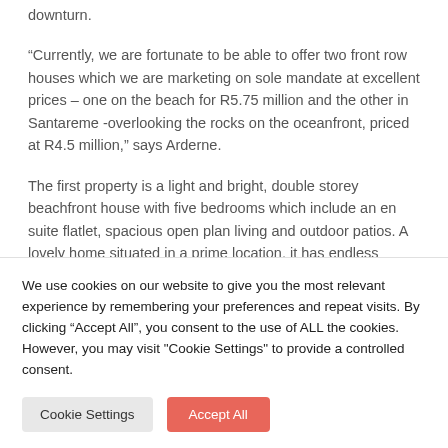downturn.
“Currently, we are fortunate to be able to offer two front row houses which we are marketing on sole mandate at excellent prices – one on the beach for R5.75 million and the other in Santareme -overlooking the rocks on the oceanfront, priced at R4.5 million,” says Arderne.
The first property is a light and bright, double storey beachfront house with five bedrooms which include an en suite flatlet, spacious open plan living and outdoor patios. A lovely home situated in a prime location, it has endless
We use cookies on our website to give you the most relevant experience by remembering your preferences and repeat visits. By clicking “Accept All”, you consent to the use of ALL the cookies. However, you may visit "Cookie Settings" to provide a controlled consent.